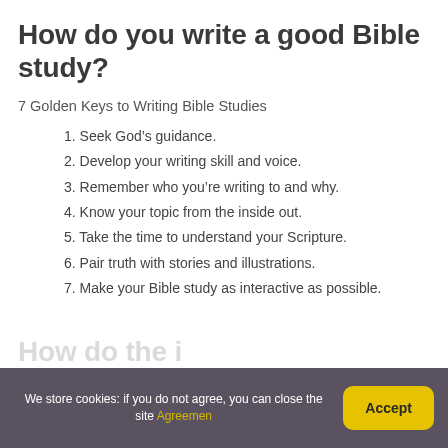How do you write a good Bible study?
7 Golden Keys to Writing Bible Studies
1. Seek God's guidance.
2. Develop your writing skill and voice.
3. Remember who you're writing to and why.
4. Know your topic from the inside out.
5. Take the time to understand your Scripture.
6. Pair truth with stories and illustrations.
7. Make your Bible study as interactive as possible.
We store cookies: if you do not agree, you can close the site Agreemen   Accept